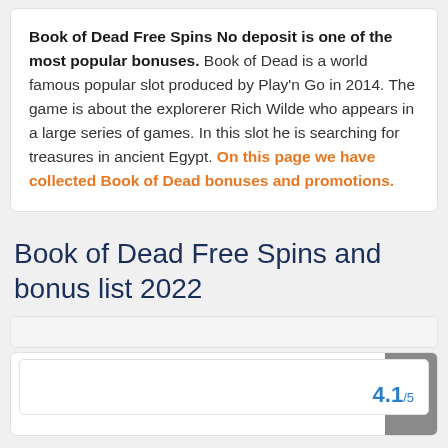Book of Dead Free Spins No deposit is one of the most popular bonuses. Book of Dead is a world famous popular slot produced by Play'n Go in 2014. The game is about the explorerer Rich Wilde who appears in a large series of games. In this slot he is searching for treasures in ancient Egypt. On this page we have collected Book of Dead bonuses and promotions.
Book of Dead Free Spins and bonus list 2022
4.1/5